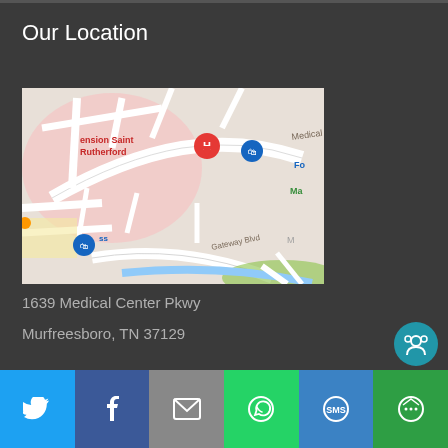Our Location
[Figure (map): Google Maps screenshot showing 1639 Medical Center Pkwy, Murfreesboro, TN 37129. Map shows Medical Center Pkwy road, Gateway Blvd, a hospital marker H with label 'ension Saint Rutherford', and a blue shopping bag pin labeled 'Fo'. Streets and green areas visible.]
1639 Medical Center Pkwy
Murfreesboro, TN 37129